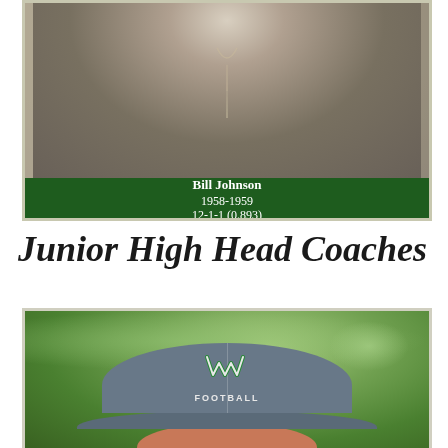[Figure (photo): Black and white photograph of Bill Johnson, partially visible torso with a necklace or chain visible, in a vintage portrait style]
Bill Johnson
1958-1959
12-1-1 (0.893)
Junior High Head Coaches
[Figure (photo): Close-up photo of a person wearing a gray/blue football cap with a W logo and 'FOOTBALL' text, with green foliage background]